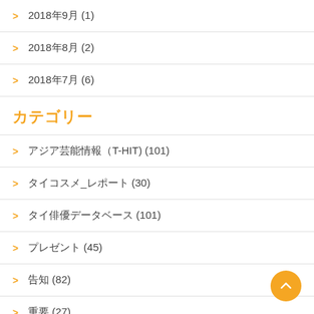2018年9月 (1)
2018年8月 (2)
2018年7月 (6)
カテゴリー
アジア芸能情報（T-HIT) (101)
タイコスメ_レポート (30)
タイ俳優データベース (101)
プレゼント (45)
告知 (82)
重要 (27)